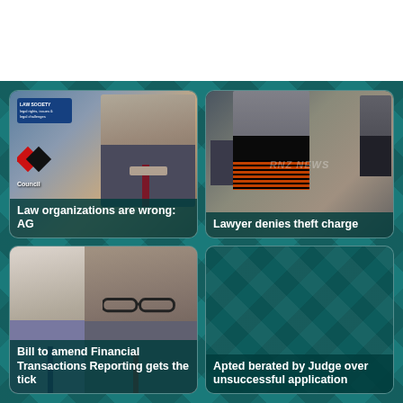[Figure (photo): Man in grey suit speaking at Law Society / Council event]
Law organizations are wrong: AG
[Figure (photo): People in robes outside a building, RNZ News watermark]
Lawyer denies theft charge
[Figure (photo): Two men in suits, one older bald man and one with glasses]
Bill to amend Financial Transactions Reporting gets the tick
[Figure (photo): Teal geometric background pattern]
Apted berated by Judge over unsuccessful application